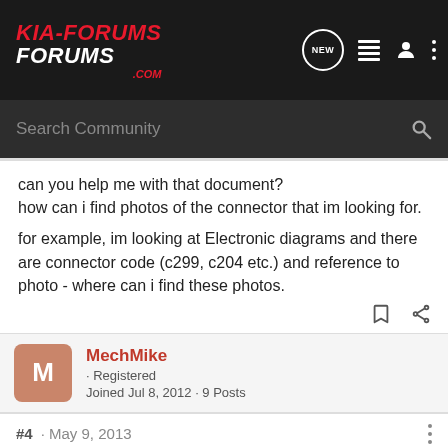KIA-FORUMS.COM
Search Community
can you help me with that document?
how can i find photos of the connector that im looking for.

for example, im looking at Electronic diagrams and there are connector code (c299, c204 etc.) and reference to photo - where can i find these photos.
MechMike · Registered
Joined Jul 8, 2012 · 9 Posts
#4 · May 9, 2013
This is GREAT! Thanks for posting.